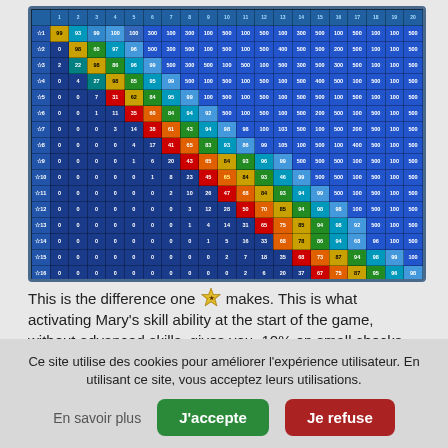[Figure (table-as-image): A colorful game probability table showing percentage values in a grid. Rows represent star levels (☆1 through ☆16) and columns represent check values (1-20). Cells are color-coded from dark blue (low values, 0) through purple, green, yellow, orange, red to cyan/light-blue (high values, 100/500).]
This is the difference one ★ makes. This is what activating Mary's skill ability at the start of the game, without advanced skills, gives you. 10% on small checks, less on big
Ce site utilise des cookies pour améliorer l'expérience utilisateur. En utilisant ce site, vous acceptez leurs utilisations.
En savoir plus
J'accepte
Je refuse